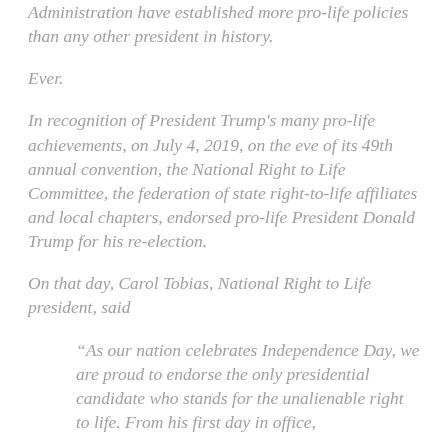Administration have established more pro-life policies than any other president in history.
Ever.
In recognition of President Trump's many pro-life achievements, on July 4, 2019, on the eve of its 49th annual convention, the National Right to Life Committee, the federation of state right-to-life affiliates and local chapters, endorsed pro-life President Donald Trump for his re-election.
On that day, Carol Tobias, National Right to Life president, said
“As our nation celebrates Independence Day, we are proud to endorse the only presidential candidate who stands for the unalienable right to life. From his first day in office,